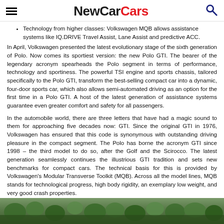NewCarCars
Technology from higher classes: Volkswagen MQB allows assistance systems like IQ.DRIVE Travel Assist, Lane Assist and predictive ACC.
In April, Volkswagen presented the latest evolutionary stage of the sixth generation of Polo. Now comes its sportiest version: the new Polo GTI. The bearer of the legendary acronym spearheads the Polo segment in terms of performance, technology and sportiness. The powerful TSI engine and sports chassis, tailored specifically to the Polo GTI, transform the best-selling compact car into a dynamic, four-door sports car, which also allows semi-automated driving as an option for the first time in a Polo GTI. A host of the latest generation of assistance systems guarantee even greater comfort and safety for all passengers.
In the automobile world, there are three letters that have had a magic sound to them for approaching five decades now: GTI. Since the original GTI in 1976, Volkswagen has ensured that this code is synonymous with outstanding driving pleasure in the compact segment. The Polo has borne the acronym GTI since 1998 – the third model to do so, after the Golf and the Scirocco. The latest generation seamlessly continues the illustrious GTI tradition and sets new benchmarks for compact cars. The technical basis for this is provided by Volkswagen's Modular Transverse Toolkit (MQB). Across all the model lines, MQB stands for technological progress, high body rigidity, an exemplary low weight, and very good crash properties.
[Figure (photo): Partial view of a car in a forested/natural setting, green trees visible]